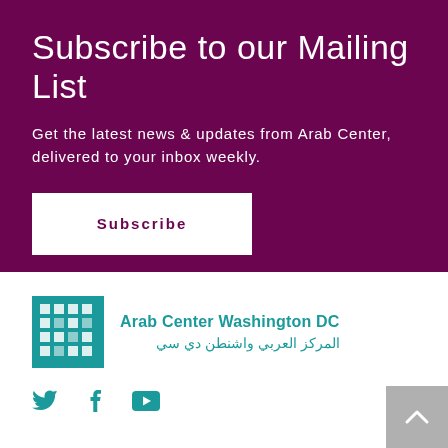Subscribe to our Mailing List
Get the latest news & updates from Arab Center, delivered to your inbox weekly.
Subscribe
[Figure (logo): Arab Center Washington DC logo — teal square with Arabic geometric pattern]
Arab Center Washington DC
المركز العربي واشنطن دي سي
[Figure (other): Social media icons: Twitter, Facebook, YouTube in teal]
[Figure (other): Back to top button — grey square with upward chevron]